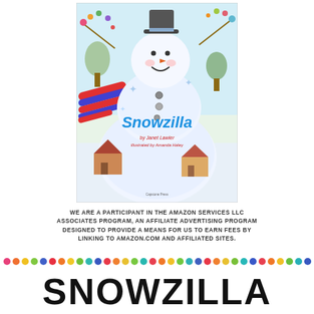[Figure (illustration): Book cover of 'Snowzilla' by Janet Lawler, illustrated by Amanda Haley. Shows a large cartoon snowman with a top hat, colorful scarf, against a winter scene with houses and snow.]
WE ARE A PARTICIPANT IN THE AMAZON SERVICES LLC ASSOCIATES PROGRAM, AN AFFILIATE ADVERTISING PROGRAM DESIGNED TO PROVIDE A MEANS FOR US TO EARN FEES BY LINKING TO AMAZON.COM AND AFFILIATED SITES.
[Figure (other): A row of colorful dots in repeating rainbow colors: pink, orange, yellow, green, blue, red, orange, yellow, green, teal, blue, red, orange, yellow, green, teal, etc.]
SNOWZILLA ACTIVITIES